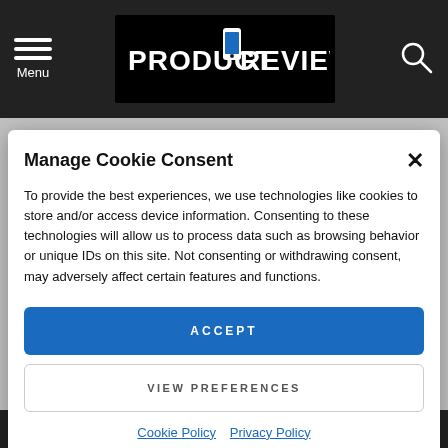Menu | PRODUCT REVIEWS
Manage Cookie Consent
To provide the best experiences, we use technologies like cookies to store and/or access device information. Consenting to these technologies will allow us to process data such as browsing behavior or unique IDs on this site. Not consenting or withdrawing consent, may adversely affect certain features and functions.
ACCEPT
VIEW PREFERENCES
Cookie Policy  Privacy Policy
© Copyright Dansway Communications LTD. Product Reviews Net is part of